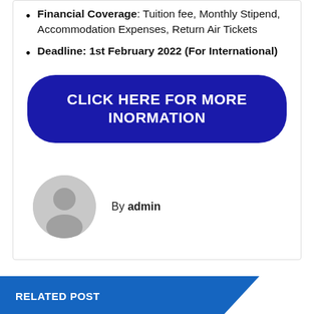Financial Coverage: Tuition fee, Monthly Stipend, Accommodation Expenses, Return Air Tickets
Deadline: 1st February 2022 (For International)
CLICK HERE FOR MORE INORMATION
By admin
RELATED POST